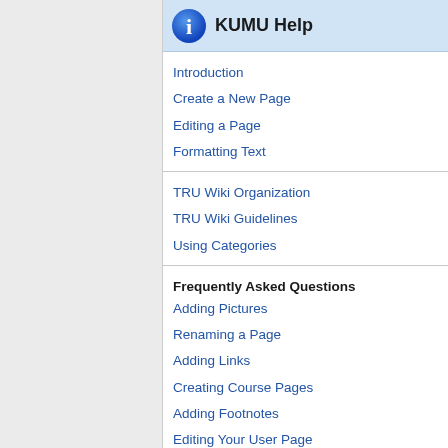KUMU Help
Introduction
Create a New Page
Editing a Page
Formatting Text
TRU Wiki Organization
TRU Wiki Guidelines
Using Categories
Frequently Asked Questions
Adding Pictures
Renaming a Page
Adding Links
Creating Course Pages
Adding Footnotes
Editing Your User Page
Embedding Social Media Apps
Creating a Book